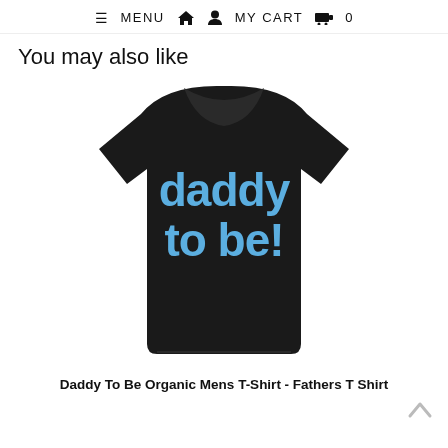≡ MENU  🏠  👤  MY CART  🛒  0
You may also like
[Figure (photo): Black t-shirt with blue bold text reading 'daddy to be!' on the front, displayed on a male model, product photo on white background]
Daddy To Be Organic Mens T-Shirt - Fathers T Shirt